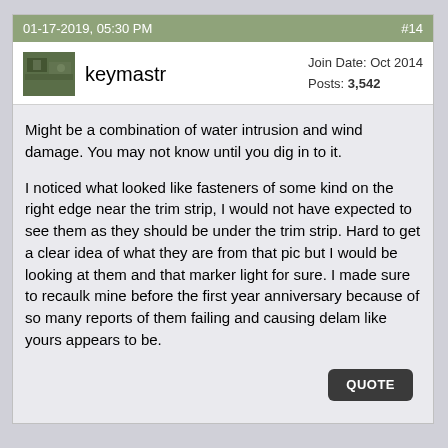01-17-2019, 05:30 PM   #14
keymastr   Join Date: Oct 2014  Posts: 3,542
Might be a combination of water intrusion and wind damage. You may not know until you dig in to it.

I noticed what looked like fasteners of some kind on the right edge near the trim strip, I would not have expected to see them as they should be under the trim strip. Hard to get a clear idea of what they are from that pic but I would be looking at them and that marker light for sure. I made sure to recaulk mine before the first year anniversary because of so many reports of them failing and causing delam like yours appears to be.
QUOTE